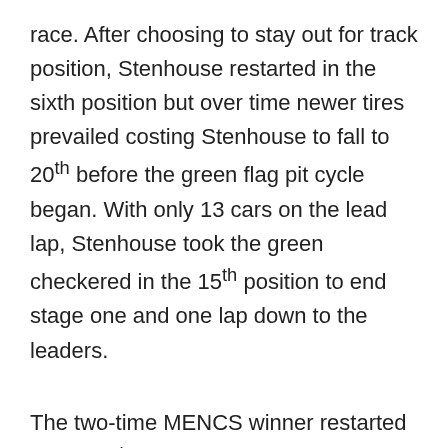race. After choosing to stay out for track position, Stenhouse restarted in the sixth position but over time newer tires prevailed costing Stenhouse to fall to 20th before the green flag pit cycle began. With only 13 cars on the lead lap, Stenhouse took the green checkered in the 15th position to end stage one and one lap down to the leaders.
The two-time MENCS winner restarted in the 15th position for the second 80-lap stage and steadily marched his way into the free pass position despite battling a machine that lacked rear grip. The much needed caution was displayed on lap 141 allowing Stenhouse to get back on the lead lap. The Olive